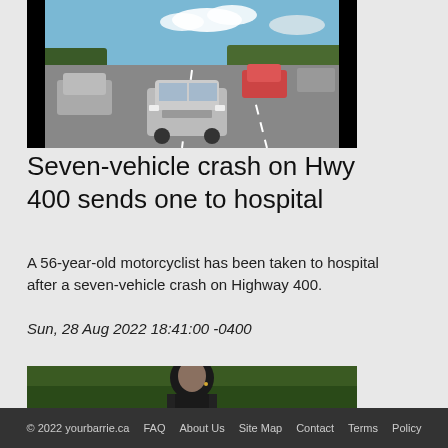[Figure (photo): Highway scene with multiple vehicles stopped on a multi-lane road under a blue sky with clouds; cars and possibly an accident scene visible]
Seven-vehicle crash on Hwy 400 sends one to hospital
A 56-year-old motorcyclist has been taken to hospital after a seven-vehicle crash on Highway 400.
Sun, 28 Aug 2022 18:41:00 -0400
[Figure (photo): Close-up of a person (police officer) looking upward, outdoors with green background]
© 2022 yourbarrie.ca   FAQ   About Us   Site Map   Contact   Terms   Policy